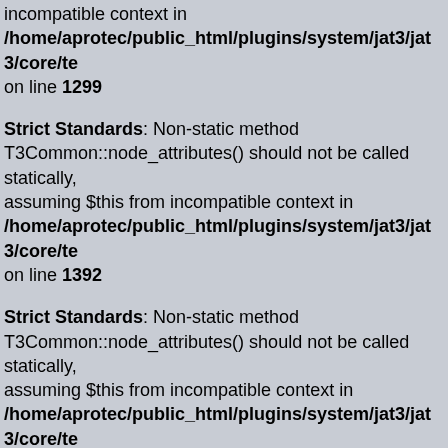incompatible context in /home/aprotec/public_html/plugins/system/jat3/jat3/core/te on line 1299
Strict Standards: Non-static method T3Common::node_attributes() should not be called statically, assuming $this from incompatible context in /home/aprotec/public_html/plugins/system/jat3/jat3/core/te on line 1392
Strict Standards: Non-static method T3Common::node_attributes() should not be called statically, assuming $this from incompatible context in /home/aprotec/public_html/plugins/system/jat3/jat3/core/te on line 1393
Strict Standards: Non-static method T3Common::node_data() should not be called statically, assuming $this from incompatible context in